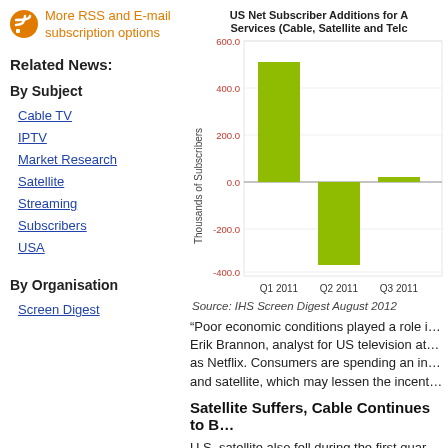More RSS and E-mail subscription options
Related News:
By Subject
Cable TV
IPTV
Market Research
Satellite
Streaming
Subscribers
USA
By Organisation
Screen Digest
[Figure (bar-chart): US Net Subscriber Additions for All Services (Cable, Satellite and Telco)]
Source: IHS Screen Digest August 2012
“Poor economic conditions played a role i... Erik Brannon, analyst for US television at... as Netflix. Consumers are spending an in... and satellite, which may lessen the incent...
Satellite Suffers, Cable Continues to B...
U.S. satellite also fell during the first quar... first contraction since the second quarter... 52,000 subscribers, its first-ever decline.